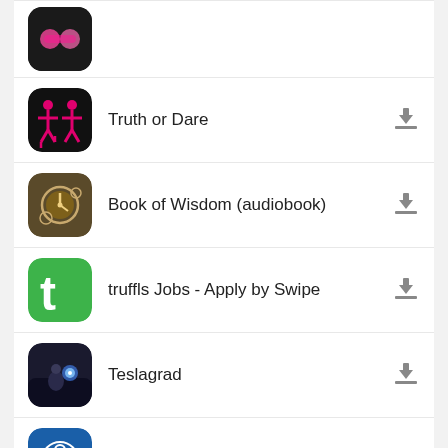Truth or Dare
Book of Wisdom (audiobook)
truffls Jobs - Apply by Swipe
Teslagrad
UNFCU Digital Banking
Popular In Last 24 Hours